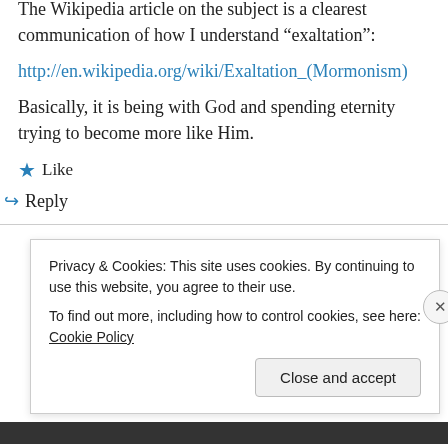The Wikipedia article on the subject is a clearest communication of how I understand “exaltation”:
http://en.wikipedia.org/wiki/Exaltation_(Mormonism)
Basically, it is being with God and spending eternity trying to become more like Him.
★ Like
↪ Reply
Privacy & Cookies: This site uses cookies. By continuing to use this website, you agree to their use.
To find out more, including how to control cookies, see here: Cookie Policy
Close and accept